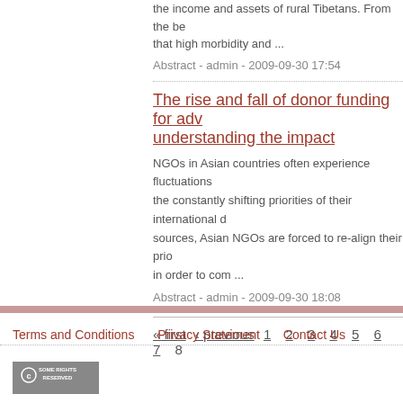the income and assets of rural Tibetans. From the be that high morbidity and ...
Abstract - admin - 2009-09-30 17:54
The rise and fall of donor funding for adv understanding the impact
NGOs in Asian countries often experience fluctuations the constantly shifting priorities of their international d sources, Asian NGOs are forced to re-align their prio in order to com ...
Abstract - admin - 2009-09-30 18:08
« first ‹ previous 1 2 3 4 5 6 7 8
Terms and Conditions   Privacy Statement   Contact Us
[Figure (logo): Creative Commons Some Rights Reserved badge]